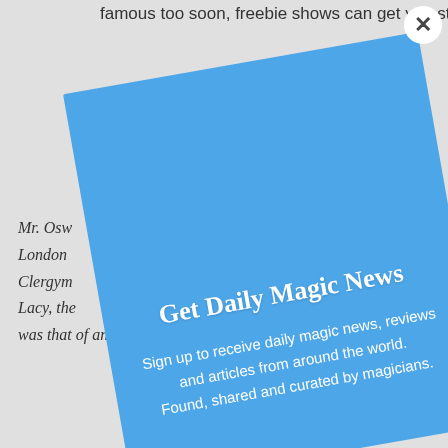famous too soon, freebie shows can get you started
[Figure (screenshot): A rotated blue modal popup overlay on a webpage, with a white close button (×) in the top-right corner. The modal contains the heading 'Get Daily Magic News' and body text 'Sign up to receive daily magic news, reviews and articles from around the world. Found, shared and curated by magicians.']
Mr. Osw
London
Clergym
Lacy, the … original profession was that of an Architect.